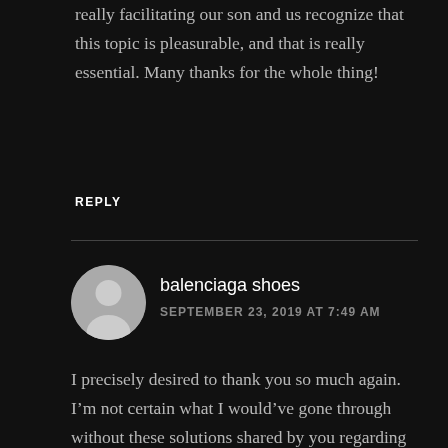really facilitating our son and us recognize that this topic is pleasurable, and that is really essential. Many thanks for the whole thing!
REPLY
balenciaga shoes
SEPTEMBER 23, 2019 AT 7:49 AM
I precisely desired to thank you so much again. I’m not certain what I would’ve gone through without these solutions shared by you regarding such area of interest. It was a fearsome circumstance for me personally, nevertheless spending time with a new specialised form you solved the issue made me to jump over gladness. I will be happier for this service and as well , wish you realize what an amazing job you are getting into training people using a site. Probably you haven’t got to know